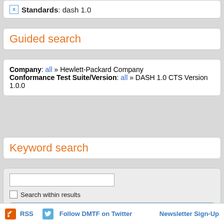Standards: dash 1.0
Guided search
Company: all » Hewlett-Packard Company
Conformance Test Suite/Version: all » DASH 1.0 CTS Version 1.0.0
Keyword search
[Figure (screenshot): Keyword search input box, checkbox for 'Search within results', Search button, and More options link]
RSS  Follow DMTF on Twitter  Newsletter Sign-Up